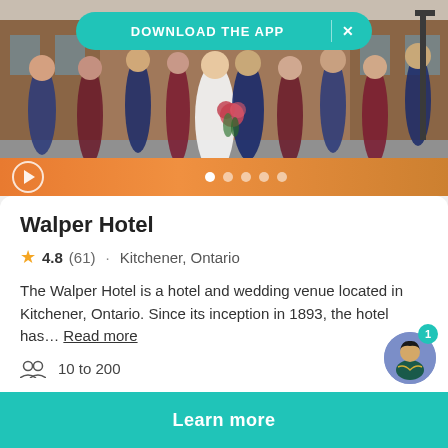[Figure (photo): Wedding party photo outside a brick building. Bride and groom kissing in center, surrounded by bridesmaids in burgundy/maroon dresses and groomsmen in navy suits. Group is jubilantly jumping and celebrating. An orange banner with video play button and dot carousel indicators at bottom.]
Walper Hotel
4.8 (61) · Kitchener, Ontario
The Walper Hotel is a hotel and wedding venue located in Kitchener, Ontario. Since its inception in 1893, the hotel has... Read more
10 to 200
Learn more